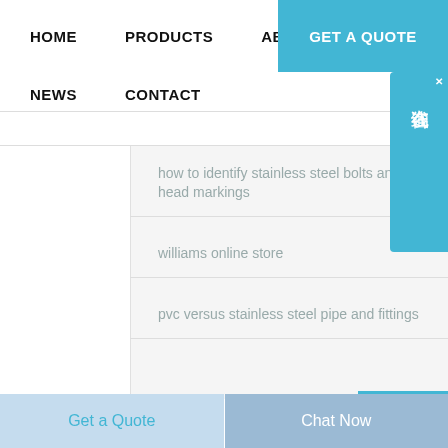HOME   PRODUCTS   ABOUT   GET A QUOTE
NEWS   CONTACT
[Figure (screenshot): Chinese online chat widget button on right side with text 在线咨询 and X close button]
how to identify stainless steel bolts and head markings
williams online store
pvc versus stainless steel pipe and fittings
Get a Quote
Chat Now